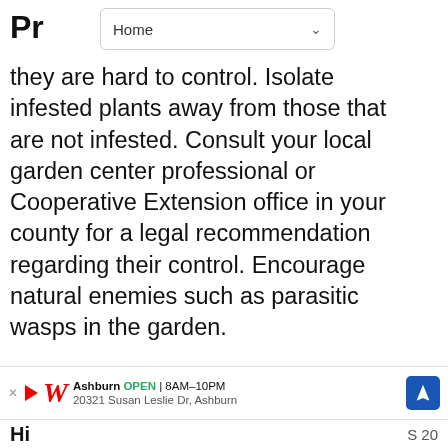Home
Pr…
they are hard to control. Isolate infested plants away from those that are not infested. Consult your local garden center professional or Cooperative Extension office in your county for a legal recommendation regarding their control. Encourage natural enemies such as parasitic wasps in the garden.
Diseases : Southern Blight
Plants with Southern blight have lesions on the stem at, or near, the soil line. These lesions develop rapidly, girdling the stem and resulting in…
[Figure (screenshot): What's Next overlay showing Abutilon megapotamic... with a flower thumbnail]
[Figure (screenshot): Advertisement bar for Walgreens: Ashburn OPEN 8AM-10PM, 20321 Susan Leslie Dr, Ashburn with navigation arrow]
Hi…